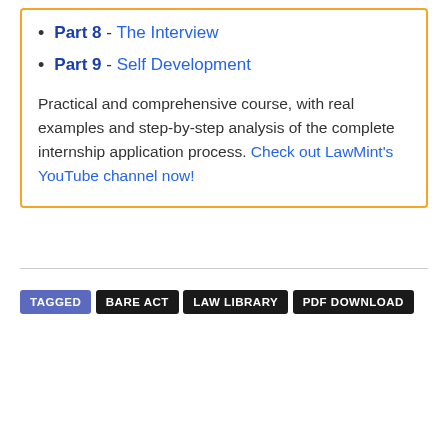Part 8 - The Interview
Part 9 - Self Development
Practical and comprehensive course, with real examples and step-by-step analysis of the complete internship application process. Check out LawMint's YouTube channel now!
TAGGED  BARE ACT  LAW LIBRARY  PDF DOWNLOAD